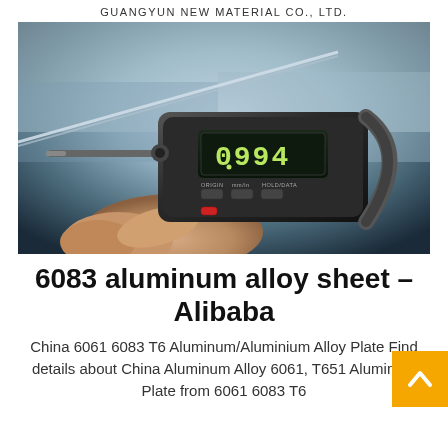GUANGYUN NEW MATERIAL CO., LTD.
[Figure (photo): A digital micrometer measuring a thin aluminum sheet, held by a person's hand, digital display reads 0.994 mm. Background shows an industrial setting.]
6083 aluminum alloy sheet – Alibaba
China 6061 6083 T6 Aluminum/Aluminium Alloy Plate Find details about China Aluminum Alloy 6061, T651 Aluminum Plate from 6061 6083 T6